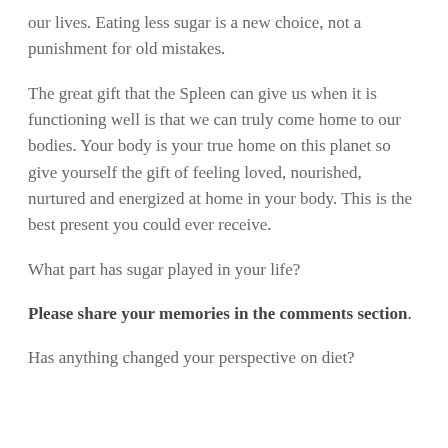our lives. Eating less sugar is a new choice, not a punishment for old mistakes.
The great gift that the Spleen can give us when it is functioning well is that we can truly come home to our bodies.  Your body is your true home on this planet so give yourself the gift of feeling loved, nourished, nurtured and energized at home in your body.  This is the best present you could ever receive.
What part has sugar played in your life?
Please share your memories in the comments section.
Has anything changed your perspective on diet?